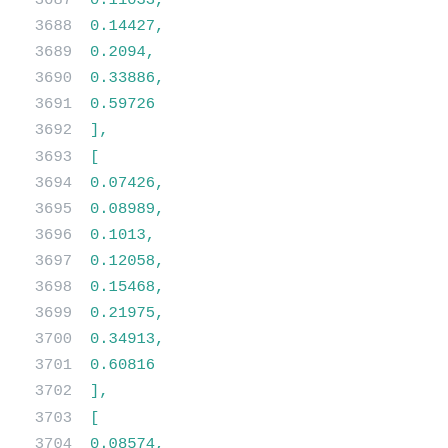Code listing lines 3687-3708 showing numeric array data
3687    0.11033,
3688    0.14427,
3689    0.2094,
3690    0.33886,
3691    0.59726
3692  ],
3693  [
3694    0.07426,
3695    0.08989,
3696    0.1013,
3697    0.12058,
3698    0.15468,
3699    0.21975,
3700    0.34913,
3701    0.60816
3702  ],
3703  [
3704    0.08574,
3705    0.10205,
3706    0.11383,
3707    0.13355,
3708    0.16816,